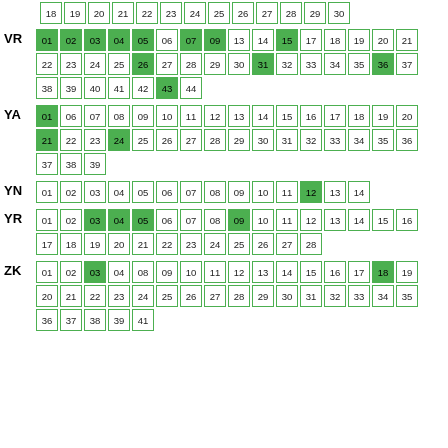18 19 20 21 22 23 24 25 26 27 28 29 30
VR: 01 02 03 04 05 06 07 09 13 14 15 17 18 19 20 21 22 23 24 25 26 27 28 29 30 31 32 33 34 35 36 37 38 39 40 41 42 43 44
YA: 01 06 07 08 09 10 11 12 13 14 15 16 17 18 19 20 21 22 23 24 25 26 27 28 29 30 31 32 33 34 35 36 37 38 39
YN: 01 02 03 04 05 06 07 08 09 10 11 12 13 14
YR: 01 02 03 04 05 06 07 08 09 10 11 12 13 14 15 16 17 18 19 20 21 22 23 24 25 26 27 28
ZK: 01 02 03 04 08 09 10 11 12 13 14 15 16 17 18 19 20 21 22 23 24 25 26 27 28 29 30 31 32 33 34 35 36 37 38 39 41